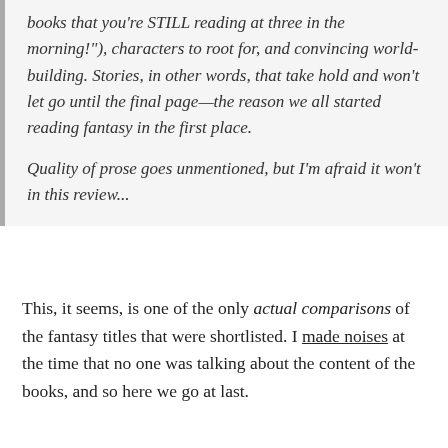books that you're STILL reading at three in the morning!"), characters to root for, and convincing world-building. Stories, in other words, that take hold and won't let go until the final page—the reason we all started reading fantasy in the first place.

Quality of prose goes unmentioned, but I'm afraid it won't in this review...
This, it seems, is one of the only actual comparisons of the fantasy titles that were shortlisted. I made noises at the time that no one was talking about the content of the books, and so here we go at last.